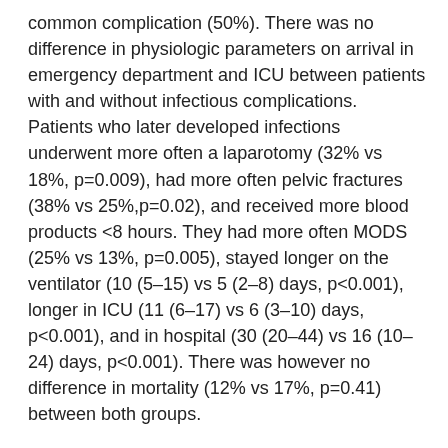common complication (50%). There was no difference in physiologic parameters on arrival in emergency department and ICU between patients with and without infectious complications. Patients who later developed infections underwent more often a laparotomy (32% vs 18%, p=0.009), had more often pelvic fractures (38% vs 25%,p=0.02), and received more blood products <8 hours. They had more often MODS (25% vs 13%, p=0.005), stayed longer on the ventilator (10 (5–15) vs 5 (2–8) days, p<0.001), longer in ICU (11 (6–17) vs 6 (3–10) days, p<0.001), and in hospital (30 (20–44) vs 16 (10–24) days, p<0.001). There was however no difference in mortality (12% vs 17%, p=0.41) between both groups.
Conclusion 45% of patients developed infectious complications. These patients had similar mortality rates, but used more hospital resources. With low MODS-related and ARDS-related mortality, infections might be a residual effect, and are one of the remaining challenges in the treatment of patients with polytrauma.